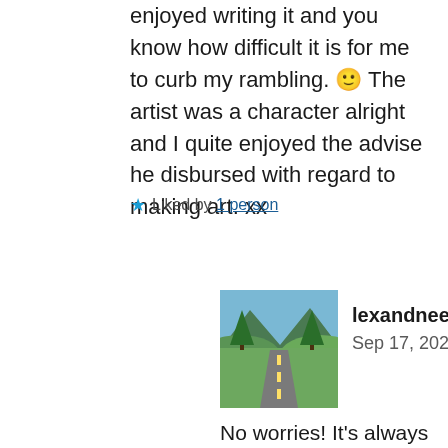enjoyed writing it and you know how difficult it is for me to curb my rambling. 🙂 The artist was a character alright and I quite enjoyed the advise he disbursed with regard to making art. xx
★ Liked by 1 person
lexandneek
Sep 17, 2021
No worries! It's always fun to read your "ramblings" and see what you are rambling about 😉